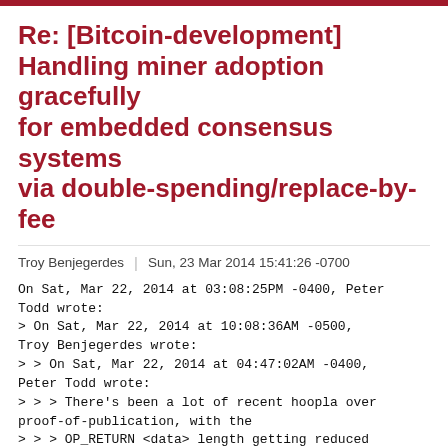Re: [Bitcoin-development] Handling miner adoption gracefully for embedded consensus systems via double-spending/replace-by-fee
Troy Benjegerdes | Sun, 23 Mar 2014 15:41:26 -0700
On Sat, Mar 22, 2014 at 03:08:25PM -0400, Peter Todd wrote:
> On Sat, Mar 22, 2014 at 10:08:36AM -0500, Troy Benjegerdes wrote:
> > On Sat, Mar 22, 2014 at 04:47:02AM -0400, Peter Todd wrote:
> > > There's been a lot of recent hoopla over proof-of-publication, with the
> > > OP_RETURN <data> length getting reduced to a rather useless 40 bytes at
> > > the last minute prior to the 0.9 release. Secondly I noticed a
> > > overlooked security flaw in that OP_CHECKMULTISIG sigops weren't taken